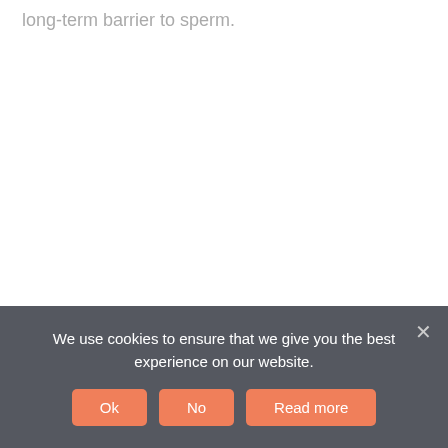long-term barrier to sperm.
We use cookies to ensure that we give you the best experience on our website.
Ok
No
Read more